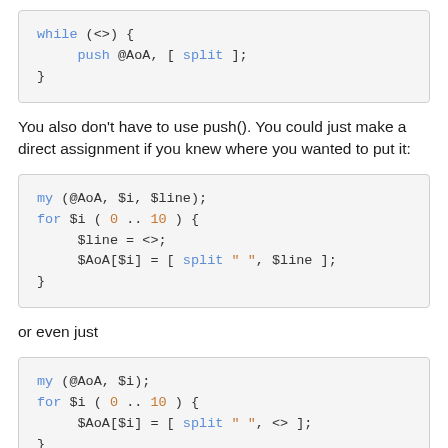[Figure (screenshot): Code block showing: while (<>) { push @AoA, [ split ]; }]
You also don't have to use push(). You could just make a direct assignment if you knew where you wanted to put it:
[Figure (screenshot): Code block showing: my (@AoA, $i, $line); for $i ( 0 .. 10 ) { $line = <>; $AoA[$i] = [ split " ", $line ]; }]
or even just
[Figure (screenshot): Code block showing: my (@AoA, $i); for $i ( 0 .. 10 ) { $AoA[$i] = [ split " ", <> ]; }]